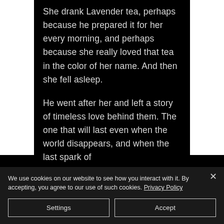She drank Lavender tea, perhaps because he prepared it for her every morning, and perhaps because she really loved that tea in the color of her name. And then she fell asleep.
He went after her and left a story of timeless love behind them. The one that will last even when the world disappears, and when the last spark of
We use cookies on our website to see how you interact with it. By accepting, you agree to our use of such cookies. Privacy Policy